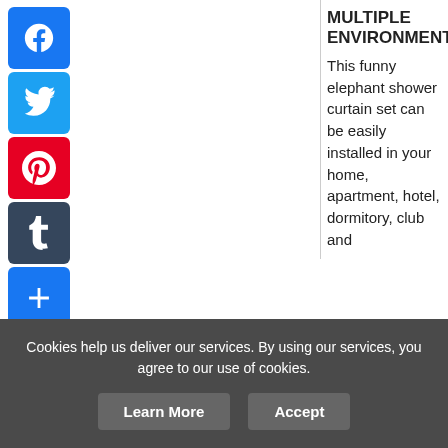MULTIPLE ENVIRONMENTS
This funny elephant shower curtain set can be easily installed in your home, apartment, hotel, dormitory, club and
[Figure (infographic): Social media share buttons: Facebook (blue), Twitter (blue), Pinterest (red), Tumblr (dark), Share/Plus (blue)]
Cookies help us deliver our services. By using our services, you agree to our use of cookies.
Learn More   Accept